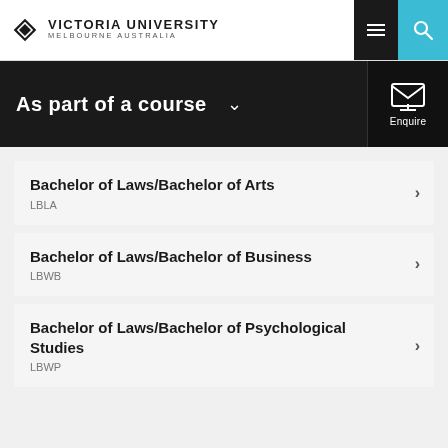Victoria University Melbourne Australia
As part of a course
Bachelor of Laws/Bachelor of Arts
LBLA
Bachelor of Laws/Bachelor of Business
LBWB
Bachelor of Laws/Bachelor of Psychological Studies
LBWP